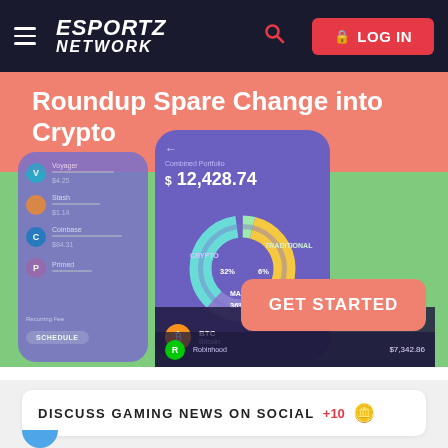ESPORTZ NETWORK — LOG IN
[Figure (screenshot): Promotional banner for a crypto roundup app showing 'Roundup Spare Change into Crypto' with phone mockups displaying a donut chart of portfolio allocation (CRYPTO 32%, TRADITIONAL 6%, MANUAL ADD 36%) and a balance of $12,428.74, plus a GET STARTED button]
DISCUSS GAMING NEWS ON SOCIAL +10 🪙